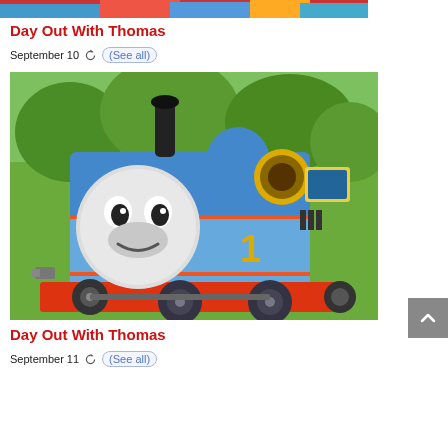[Figure (photo): Partial top of a colorful event photo with red, blue, and orange colors visible]
Day Out With Thomas
September 10   ↻ (See all)
[Figure (photo): Thomas the Tank Engine (blue steam locomotive with face and number 1) at an outdoor event park, surrounded by green trees, with red undercarriage]
Day Out With Thomas
September 11   ↻ (See all)